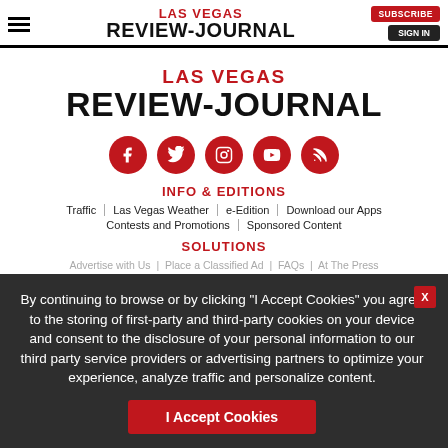LAS VEGAS REVIEW-JOURNAL | SUBSCRIBE | SIGN IN
[Figure (logo): Las Vegas Review-Journal logo with LAS VEGAS in red and REVIEW-JOURNAL in black bold]
[Figure (illustration): Five red circle social media icons: Facebook, Twitter, Instagram, YouTube, RSS]
INFO & EDITIONS
Traffic | Las Vegas Weather | e-Edition | Download our Apps | Contests and Promotions | Sponsored Content
SOLUTIONS
Advertise with Us | Place a Classified Ad | FAQs | At The Press
By continuing to browse or by clicking "I Accept Cookies" you agree to the storing of first-party and third-party cookies on your device and consent to the disclosure of your personal information to our third party service providers or advertising partners to optimize your experience, analyze traffic and personalize content.
I Accept Cookies